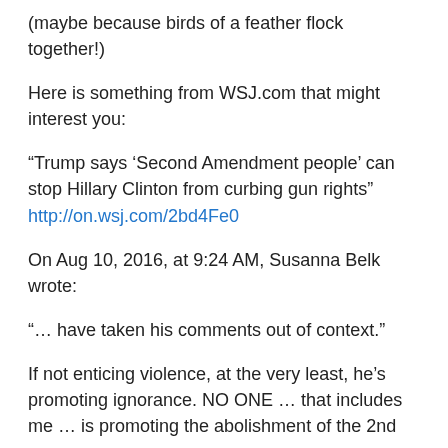(maybe because birds of a feather flock together!)
Here is something from WSJ.com that might interest you:
“Trump says ‘Second Amendment people’ can stop Hillary Clinton from curbing gun rights” http://on.wsj.com/2bd4Fe0
On Aug 10, 2016, at 9:24 AM, Susanna Belk wrote:
“… have taken his comments out of context.”
If not enticing violence, at the very least, he’s promoting ignorance. NO ONE … that includes me … is promoting the abolishment of the 2nd